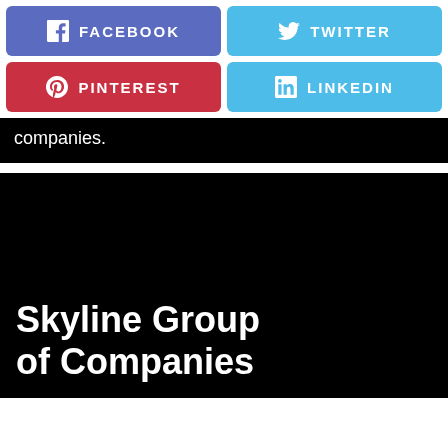[Figure (infographic): Social media share buttons: Facebook (purple-blue), Twitter (light blue), Pinterest (red), LinkedIn (light blue), each with icon and uppercase label]
companies.
[Figure (illustration): Black banner with large white bold text reading 'Skyline Group of Companies']